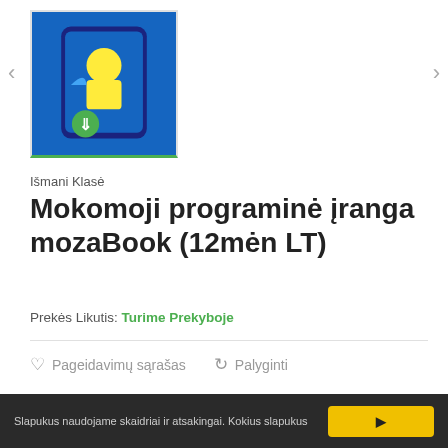[Figure (photo): Product image of mozaBook software shown on a mobile device with blue background and yellow character, with green download icon. Navigation arrows on left and right.]
Išmani Klasė
Mokomoji programinė įranga mozaBook (12mėn LT)
Prekės Likutis: Turime Prekyboje
Pageidavimų sąrašas   Palyginti
Gamintojas:   Mozabook
Kategorija:    Interaktyvių lentų priedai, Išmani klasė
Slapukus naudojame skaidriai ir atsakingai. Kokius slapukus